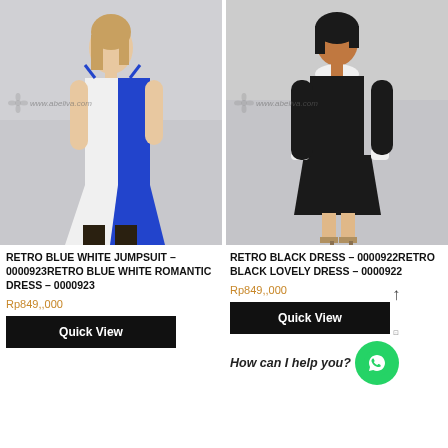[Figure (photo): Product photo of a woman wearing a blue and white split maxi dress/jumpsuit with shoulder ties, paired with black chunky boots. Watermark: www.abeliva.com]
[Figure (photo): Product photo of a woman wearing a black mini dress with white Peter Pan collar and white cuffs, paired with tan heeled sandals. Watermark: www.abeliva.com]
RETRO BLUE WHITE JUMPSUIT – 0000923RETRO BLUE WHITE ROMANTIC DRESS – 0000923
RETRO BLACK DRESS – 0000922RETRO BLACK LOVELY DRESS – 0000922
Rp849,,000
Rp849,,000
Quick View
Quick View
How can I help you?